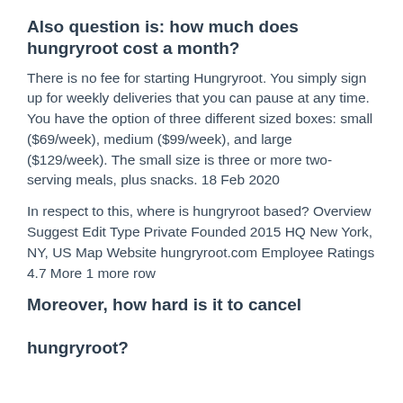Also question is: how much does hungryroot cost a month?
There is no fee for starting Hungryroot. You simply sign up for weekly deliveries that you can pause at any time. You have the option of three different sized boxes: small ($69/week), medium ($99/week), and large ($129/week). The small size is three or more two-serving meals, plus snacks. 18 Feb 2020
In respect to this, where is hungryroot based? Overview Suggest Edit Type Private Founded 2015 HQ New York, NY, US Map Website hungryroot.com Employee Ratings 4.7 More 1 more row
Moreover, how hard is it to cancel hungryroot?